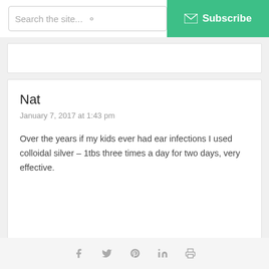Search the site...  Subscribe
Nat
January 7, 2017 at 1:43 pm
Over the years if my kids ever had ear infections I used colloidal silver – 1tbs three times a day for two days, very effective.
Dr. Barry D. Cont...
Social share icons: facebook, twitter, pinterest, linkedin, print